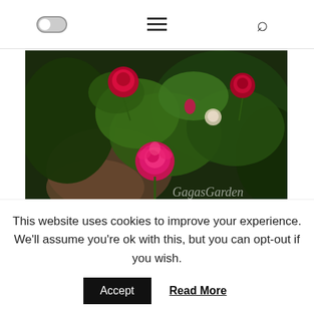[Figure (screenshot): Website navigation bar with toggle switch on left, hamburger menu in center, and search icon on right]
[Figure (photo): Garden photo showing pink and red roses with green leaves and a stone path, watermark text 'GagasGarden' visible in lower right]
“We make patterns, we share moments.”
~ Jenny Downham, Before I Die
This website uses cookies to improve your experience. We'll assume you're ok with this, but you can opt-out if you wish.
Accept  Read More